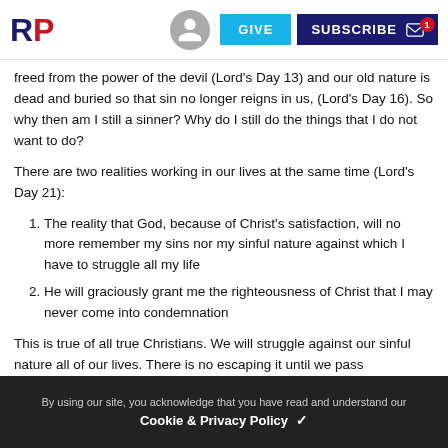RP | GIVE | SUBSCRIBE
freed from the power of the devil (Lord's Day 13) and our old nature is dead and buried so that sin no longer reigns in us, (Lord's Day 16). So why then am I still a sinner? Why do I still do the things that I do not want to do?
There are two realities working in our lives at the same time (Lord's Day 21):
The reality that God, because of Christ's satisfaction, will no more remember my sins nor my sinful nature against which I have to struggle all my life
He will graciously grant me the righteousness of Christ that I may never come into condemnation
This is true of all true Christians. We will struggle against our sinful nature all of our lives. There is no escaping it until we pass
By using our site, you acknowledge that you have read and understand our Cookie & Privacy Policy